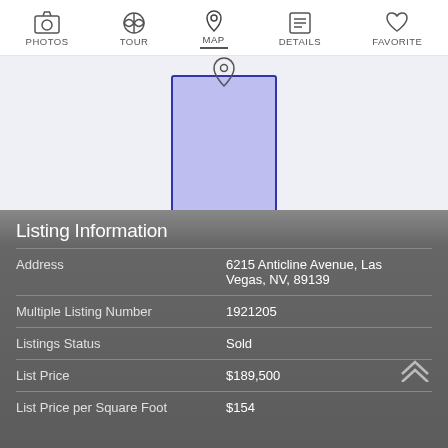PHOTOS | TOUR | MAP | DETAILS | FAVORITE
[Figure (map): Map view showing a highlighted property parcel in blue/purple on a light gray background]
Listing Information
| Field | Value |
| --- | --- |
| Address | 6215 Anticline Avenue, Las Vegas, NV, 89139 |
| Multiple Listing Number | 1921205 |
| Listings Status | Sold |
| List Price | $189,500 |
| List Price per Square Foot | $154 |